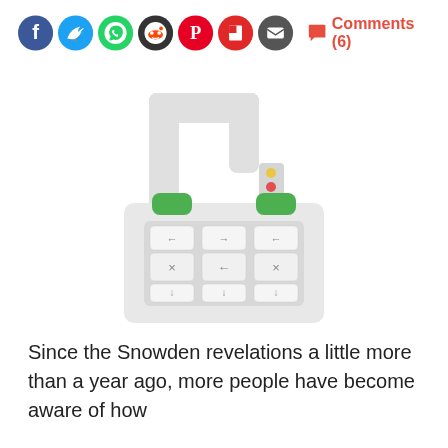Social share icons and Comments (6) button
[Figure (illustration): An open combination padlock illustration with a light grey body, green tabs at the top corners, a shackle bent to the right showing it is unlocked, and three rows of combination dials showing arrows and X/arrow symbols. Small colored dots (yellow, red, green) on the right side of the shackle.]
Since the Snowden revelations a little more than a year ago, more people have become aware of how